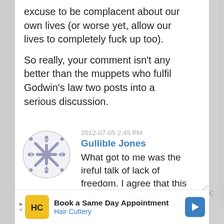excuse to be complacent about our own lives (or worse yet, allow our lives to completely fuck up too).
So really, your comment isn't any better than the muppets who fulfil Godwin's law two posts into a serious discussion.
2012-07-05 2:45 PM
Gullible Jones
What got to me was the ireful talk of lack of freedom. I agree that this situation is injust; I just think that there are much more egregious examples of people here not really
[Figure (other): Circular avatar icon with decorative snowflake/star pattern in gray on light background]
[Figure (other): Advertisement banner: Book a Same Day Appointment - Hair Cuttery, with HC logo and arrow icon]